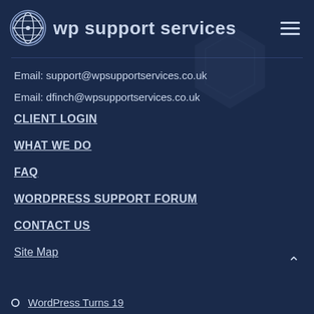wp support services
Email: support@wpsupportservices.co.uk
Email: dfinch@wpsupportservices.co.uk
CLIENT LOGIN
WHAT WE DO
FAQ
WORDPRESS SUPPORT FORUM
CONTACT US
Site Map
WordPress Turns 19